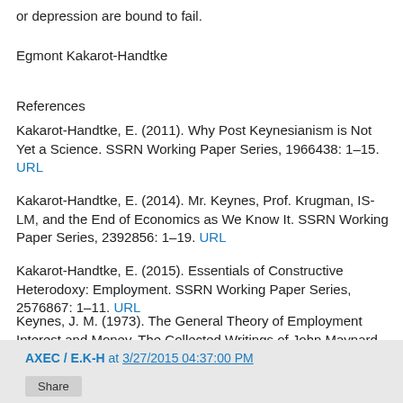or depression are bound to fail.
Egmont Kakarot-Handtke
References
Kakarot-Handtke, E. (2011). Why Post Keynesianism is Not Yet a Science. SSRN Working Paper Series, 1966438: 1–15. URL
Kakarot-Handtke, E. (2014). Mr. Keynes, Prof. Krugman, IS-LM, and the End of Economics as We Know It. SSRN Working Paper Series, 2392856: 1–19. URL
Kakarot-Handtke, E. (2015). Essentials of Constructive Heterodoxy: Employment. SSRN Working Paper Series, 2576867: 1–11. URL
Keynes, J. M. (1973). The General Theory of Employment Interest and Money. The Collected Writings of John Maynard Keynes Vol. VII. London, Basingstoke: Macmillan.
AXEC / E.K-H at 3/27/2015 04:37:00 PM  Share